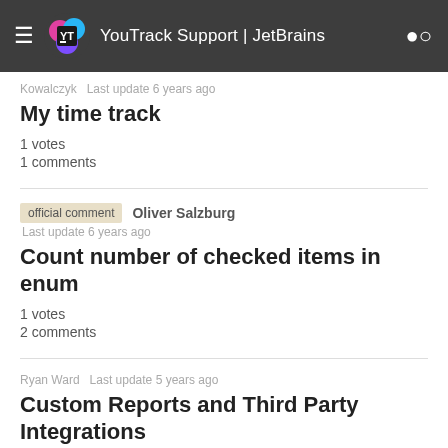YouTrack Support | JetBrains
Kowalczyk  Last update 6 years ago
My time track
1 votes
1 comments
official comment  Oliver Salzburg  Last update 6 years ago
Count number of checked items in enum
1 votes
2 comments
Ryan Ward  Last update 5 years ago
Custom Reports and Third Party Integrations
1 votes